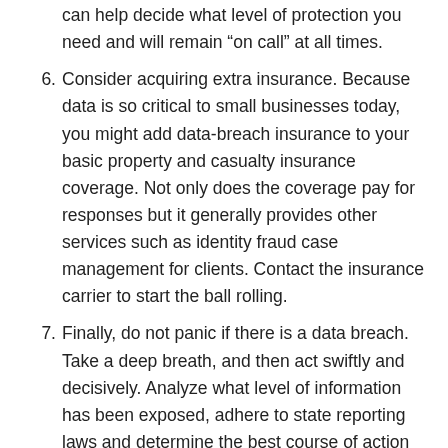can help decide what level of protection you need and will remain “on call” at all times.
6. Consider acquiring extra insurance. Because data is so critical to small businesses today, you might add data-breach insurance to your basic property and casualty insurance coverage. Not only does the coverage pay for responses but it generally provides other services such as identity fraud case management for clients. Contact the insurance carrier to start the ball rolling.
7. Finally, do not panic if there is a data breach. Take a deep breath, and then act swiftly and decisively. Analyze what level of information has been exposed, adhere to state reporting laws and determine the best course of action for responding. Make this a top priority for your business until the task has been completed.